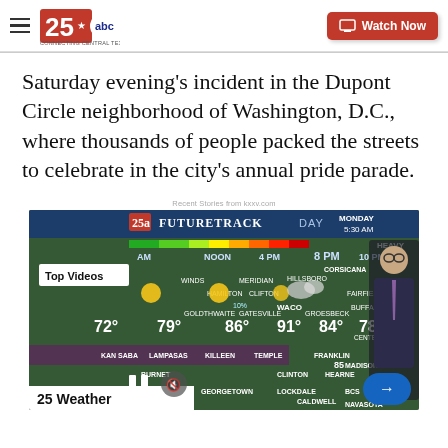KXXV 25 ABC – Connecting Central Texas | Watch Now
Saturday evening's incident in the Dupont Circle neighborhood of Washington, D.C., where thousands of people packed the streets to celebrate in the city's annual pride parade.
Recent Stories from kxxv.com
[Figure (screenshot): TV weather broadcast screenshot showing 25 FUTURETRACK DAY weather map for Central Texas with temperatures (72°, 79°, 86°, 91°, 84°, 78°) for Monday 5:30 AM, a meteorologist standing to the right, Top Videos badge in upper left, 25 Weather banner at bottom, pause and mute controls, and next arrow button.]